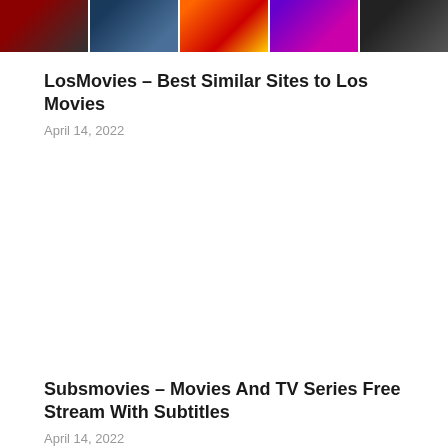[Figure (illustration): Strip of movie poster thumbnails at the top of the page]
LosMovies – Best Similar Sites to Los Movies
April 14, 2022
Subsmovies – Movies And TV Series Free Stream With Subtitles
April 14, 2022